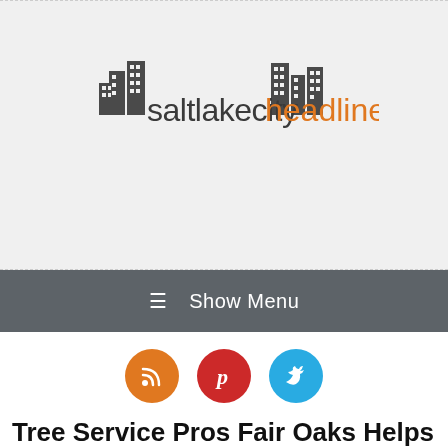[Figure (logo): Salt Lake City Headlines logo with building icons above text reading 'saltlakecity' in dark gray and 'headlines' in orange]
≡  Show Menu
[Figure (infographic): Three social media icon circles: RSS (orange), Pinterest (red), Twitter (blue)]
Tree Service Pros Fair Oaks Helps